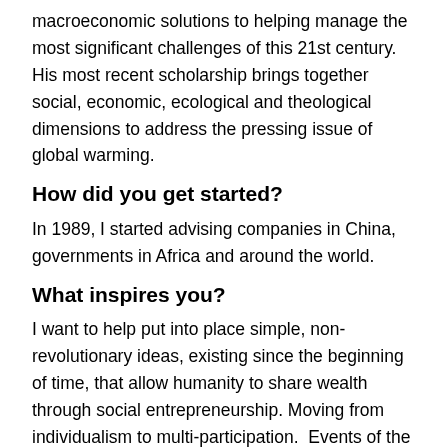macroeconomic solutions to helping manage the most significant challenges of this 21st century. His most recent scholarship brings together social, economic, ecological and theological dimensions to address the pressing issue of global warming.
How did you get started?
In 1989, I started advising companies in China, governments in Africa and around the world.
What inspires you?
I want to help put into place simple, non-revolutionary ideas, existing since the beginning of time, that allow humanity to share wealth through social entrepreneurship. Moving from individualism to multi-participation. Events of the past century, both at the industrial and technological level, have compelled human beings to change their behavior towards themselves and others.